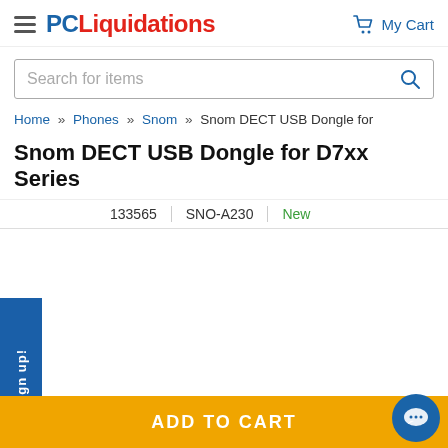PC Liquidations  My Cart
Search for items
Home » Phones » Snom » Snom DECT USB Dongle for
Snom DECT USB Dongle for D7xx Series
133565  SNO-A230  New
[Figure (photo): Partial view of a Snom DECT USB Dongle product image, showing dark-colored USB device shapes at the bottom of the page]
Sign up!
Sign up!
ADD TO CART